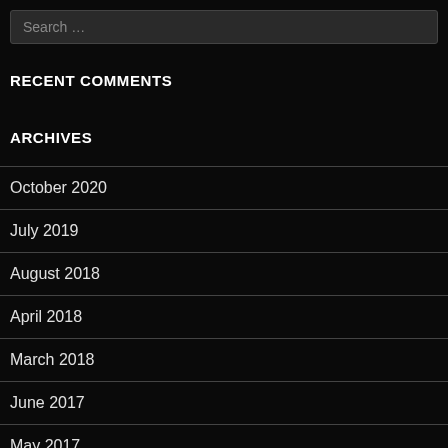Search …
RECENT COMMENTS
ARCHIVES
October 2020
July 2019
August 2018
April 2018
March 2018
June 2017
May 2017